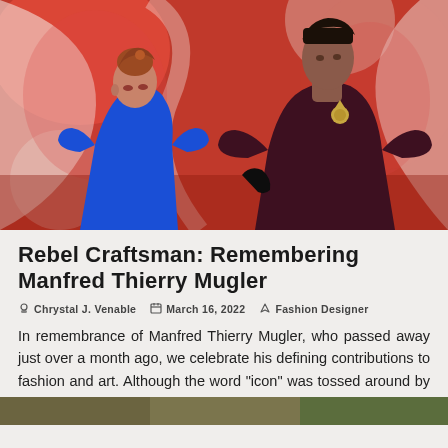[Figure (photo): Two models posing in front of a vivid red and white graphic mural backdrop. The woman on the left wears a cobalt blue structured garment with dramatic shoulders and her auburn hair is styled up. The man on the right wears a dark maroon/burgundy turtleneck sweater with a brooch. He has dark slicked hair.]
Rebel Craftsman: Remembering Manfred Thierry Mugler
Chrystal J. Venable  March 16, 2022  Fashion Designer
In remembrance of Manfred Thierry Mugler, who passed away just over a month ago, we celebrate his defining contributions to fashion and art. Although the word "icon" was tossed around by millennial girlboss...
[Figure (photo): Partial bottom strip showing what appears to be another article image — natural/earthy tones visible.]